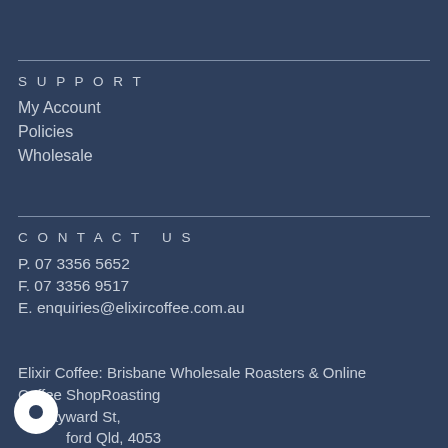SUPPORT
My Account
Policies
Wholesale
CONTACT US
P. 07 3356 5652
F. 07 3356 9517
E. enquiries@elixircoffee.com.au
Elixir Coffee: Brisbane Wholesale Roasters & Online Coffee ShopRoasting
10 Hayward St,
ford Qld, 4053